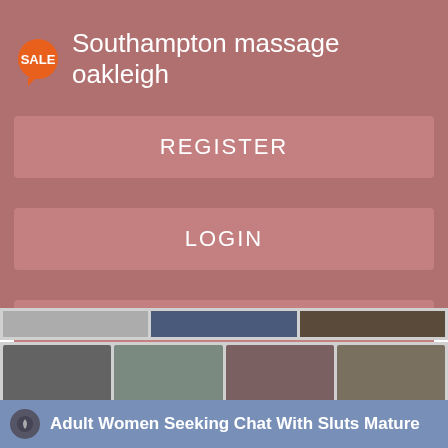Southampton massage oakleigh
REGISTER
LOGIN
CONTACT US
[Figure (screenshot): Grid of thumbnail images with 'Register NOW for Instant Access' overlays]
Adult Women Seeking Chat With Sluts Mature